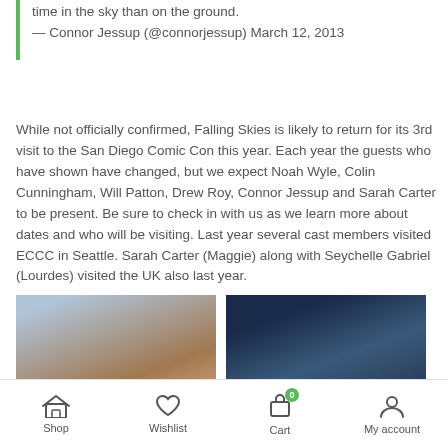time in the sky than on the ground.
— Connor Jessup (@connorjessup) March 12, 2013
While not officially confirmed, Falling Skies is likely to return for its 3rd visit to the San Diego Comic Con this year. Each year the guests who have shown have changed, but we expect Noah Wyle, Colin Cunningham, Will Patton, Drew Roy, Connor Jessup and Sarah Carter to be present. Be sure to check in with us as we learn more about dates and who will be visiting. Last year several cast members visited ECCC in Seattle. Sarah Carter (Maggie) along with Seychelle Gabriel (Lourdes) visited the UK also last year.
[Figure (photo): Young woman with long brown hair smiling, indoor setting]
[Figure (photo): Young man in dark jacket with serious expression, dark background]
Shop   Wishlist   Cart   My account